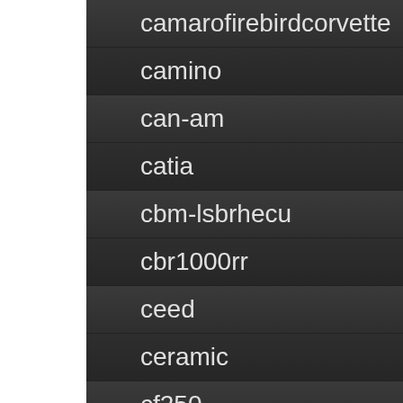camarofirebirdcorvette
camino
can-am
catia
cbm-lsbrhecu
cbr1000rr
ceed
ceramic
cf250
changing
cheap
cherokee